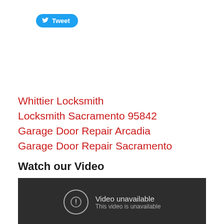[Figure (other): Twitter Tweet button with bird icon]
Whittier Locksmith
Locksmith Sacramento 95842
Garage Door Repair Arcadia
Garage Door Repair Sacramento
Watch our Video
[Figure (screenshot): Embedded video player showing 'Video unavailable / This video is unavailable']